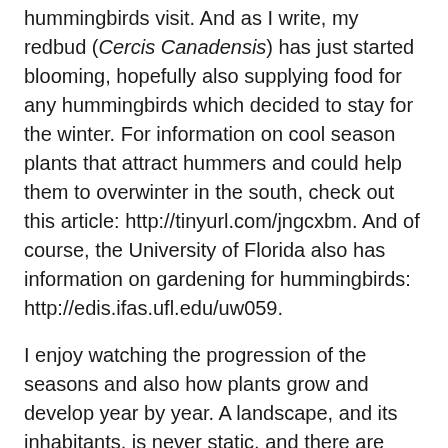hummingbirds visit. And as I write, my redbud (Cercis Canadensis) has just started blooming, hopefully also supplying food for any hummingbirds which decided to stay for the winter. For information on cool season plants that attract hummers and could help them to overwinter in the south, check out this article: http://tinyurl.com/jngcxbm. And of course, the University of Florida also has information on gardening for hummingbirds: http://edis.ifas.ufl.edu/uw059.
I enjoy watching the progression of the seasons and also how plants grow and develop year by year. A landscape, and its inhabitants, is never static, and there are surprises – both good and bad – which continue to pique my interest. I hope you feel the same.
Lesley Arrandale is a Master Gardener with the Duval County Cooperative Extension Service/City of Jacksonville